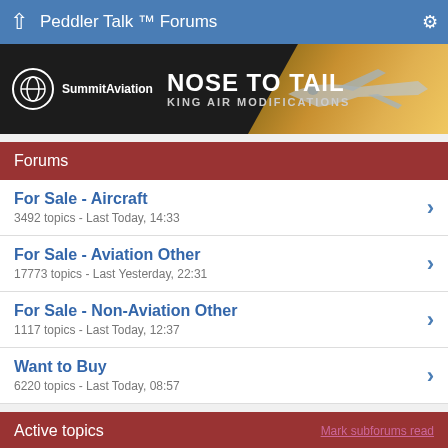Peddler Talk ™ Forums
[Figure (illustration): Summit Aviation advertisement banner - NOSE TO TAIL KING AIR MODIFICATIONS with airplane image]
Forums
For Sale - Aircraft
3492 topics - Last Today, 14:33
For Sale - Aviation Other
17773 topics - Last Yesterday, 22:31
For Sale - Non-Aviation Other
1117 topics - Last Today, 12:37
Want to Buy
6220 topics - Last Today, 08:57
Active topics
FS: 1999 Cessna 206H on Amphibs.
5 Replies - Last Today, 14:33
FS: 1958 MGA roadster